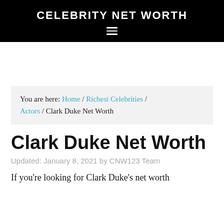CELEBRITY NET WORTH
You are here: Home / Richest Celebrities / Actors / Clark Duke Net Worth
Clark Duke Net Worth
Updated: January 8, 2021 by CNW123 Team
If you're looking for Clark Duke's net worth